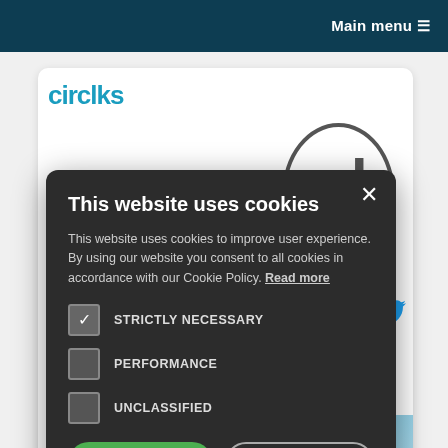Main menu ≡
[Figure (screenshot): Background webpage with teal logo text, a large letter 'd' in a circle, social media elements, and a blue card at the bottom]
This website uses cookies
This website uses cookies to improve user experience. By using our website you consent to all cookies in accordance with our Cookie Policy. Read more
STRICTLY NECESSARY (checked)
PERFORMANCE (unchecked)
UNCLASSIFIED (unchecked)
ACCEPT ALL
DECLINE ALL
SHOW DETAILS